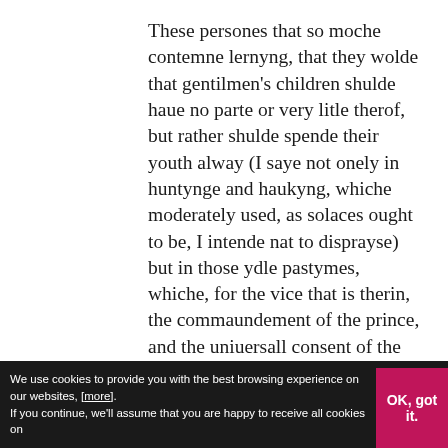These persones that so moche contemne lernyng, that they wolde that gentilmen's children shulde haue no parte or very litle therof, but rather shulde spende their youth alway (I saye not onely in huntynge and haukyng, whiche moderately used, as solaces ought to be, I intende nat to disprayse) but in those ydle pastymes, whiche, for the vice that is therin, the commaundement of the prince, and the uniuersall consent of the people, expressed in statutes and lawes, do prohibite, I meane, playeng at dyce and other games named unlefull. These
We use cookies to provide you with the best browsing experience on our websites, [more]. If you continue, we'll assume that you are happy to receive all cookies on